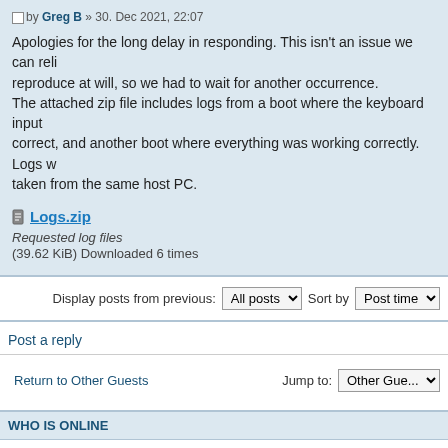by Greg B » 30. Dec 2021, 22:07
Apologies for the long delay in responding. This isn't an issue we can reliably reproduce at will, so we had to wait for another occurrence. The attached zip file includes logs from a boot where the keyboard input was not correct, and another boot where everything was working correctly. Logs were taken from the same host PC.
Logs.zip
Requested log files
(39.62 KiB) Downloaded 6 times
Display posts from previous: All posts  Sort by Post time
Post a reply
Return to Other Guests
Jump to: Other Guests
WHO IS ONLINE
Users browsing this forum: No registered users and 0 guests
Board index  The team • Delete all board
Get VirtualBox  Forum powered by phpBB © phpBB Group
By any use of this Website, you agree to be bound